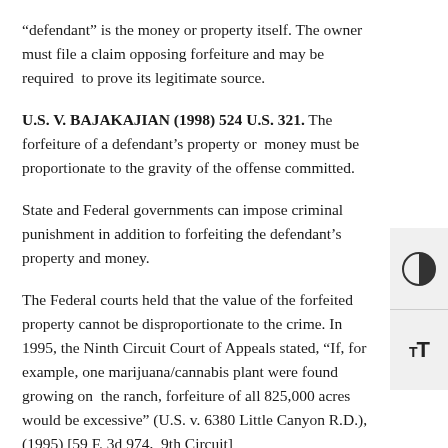“defendant” is the money or property itself. The owner must file a claim opposing forfeiture and may be required to prove its legitimate source.
U.S. V. BAJAKAJIAN (1998) 524 U.S. 321. The forfeiture of a defendant’s property or money must be proportionate to the gravity of the offense committed.
State and Federal governments can impose criminal punishment in addition to forfeiting the defendant’s property and money.
The Federal courts held that the value of the forfeited property cannot be disproportionate to the crime. In 1995, the Ninth Circuit Court of Appeals stated, “If, for example, one marijuana/cannabis plant were found growing on the ranch, forfeiture of all 825,000 acres would be excessive” (U.S. v. 6380 Little Canyon R.D.), (1995) [59 F. 3d 974, 9th Circuit]